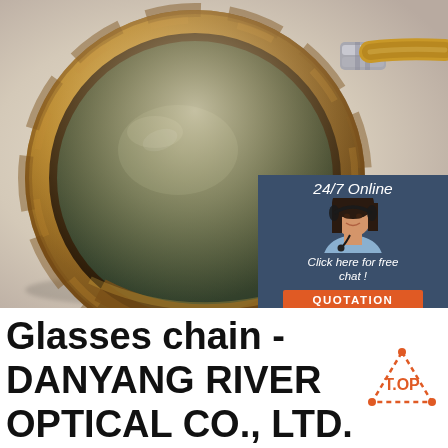[Figure (photo): Close-up photo of a round tortoiseshell/amber sunglasses frame with dark green lens, silver hinge visible at top right, on a light grey/white background. In the top-right corner, a customer service chat widget with '24/7 Online' text, a smiling woman with headset, 'Click here for free chat!' text, and an orange 'QUOTATION' button, all on a dark blue background.]
Glasses chain - DANYANG RIVER OPTICAL CO., LTD. page 1.